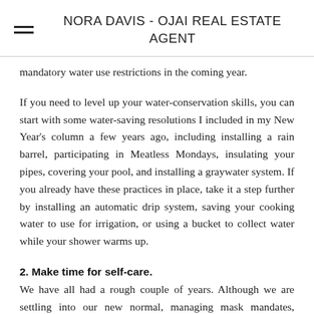NORA DAVIS - OJAI REAL ESTATE AGENT
mandatory water use restrictions in the coming year.
If you need to level up your water-conservation skills, you can start with some water-saving resolutions I included in my New Year's column a few years ago, including installing a rain barrel, participating in Meatless Mondays, insulating your pipes, covering your pool, and installing a graywater system. If you already have these practices in place, take it a step further by installing an automatic drip system, saving your cooking water to use for irrigation, or using a bucket to collect water while your shower warms up.
2. Make time for self-care.
We have all had a rough couple of years. Although we are settling into our new normal, managing mask mandates, figuring out who is and isn't vaccinated, and